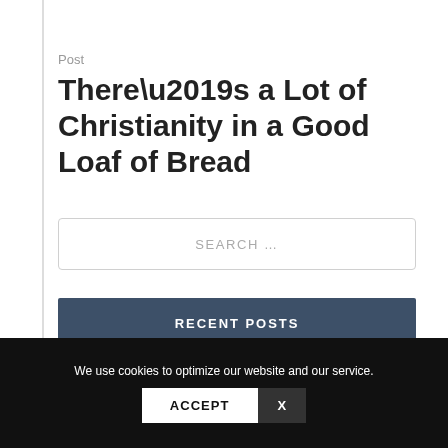Post
There’s a Lot of Christianity in a Good Loaf of Bread
SEARCH …
RECENT POSTS
Smelly, Sweating, Skunky Nostrils
We use cookies to optimize our website and our service.
ACCEPT   X